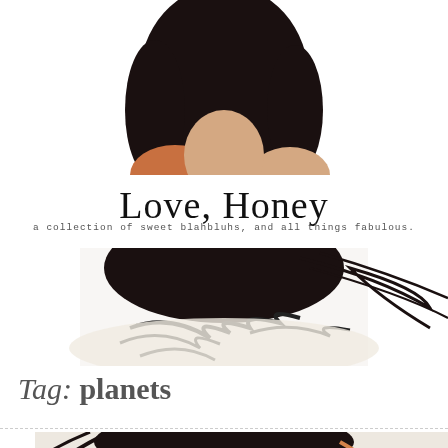[Figure (illustration): Top portion of an illustrated portrait of a woman with dark hair, cropped at shoulders, shown from behind/side]
Love, Honey
a collection of sweet blahbluhs, and all things fabulous.
[Figure (illustration): Middle banner illustration of a woman with dark flowing hair and zebra-print clothing, cropped header image]
Tag: planets
[Figure (illustration): Article header illustration showing zebra-print and painted figure, cropped]
Glittery Love in the Sky- The Perseid Meteor Shower